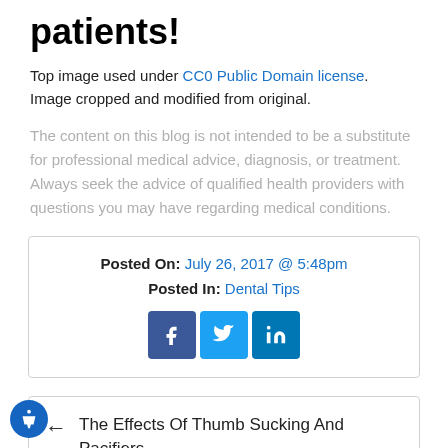patients!
Top image used under CC0 Public Domain license. Image cropped and modified from original.
The content on this blog is not intended to be a substitute for professional medical advice, diagnosis, or treatment. Always seek the advice of qualified health providers with questions you may have regarding medical conditions.
Posted On: July 26, 2017 @ 5:48pm
Posted In: Dental Tips
[Figure (infographic): Social media share buttons: Facebook (blue), Twitter (light blue), LinkedIn (dark blue)]
← The Effects Of Thumb Sucking And Pacifiers